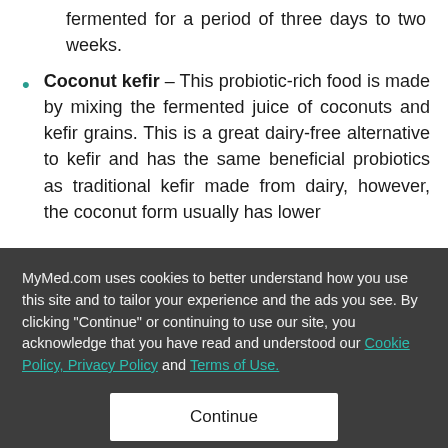fermented for a period of three days to two weeks.
Coconut kefir – This probiotic-rich food is made by mixing the fermented juice of coconuts and kefir grains. This is a great dairy-free alternative to kefir and has the same beneficial probiotics as traditional kefir made from dairy, however, the coconut form usually has lower [amount of probiotics]
MyMed.com uses cookies to better understand how you use this site and to tailor your experience and the ads you see. By clicking "Continue" or continuing to use our site, you acknowledge that you have read and understood our Cookie Policy, Privacy Policy and Terms of Use.